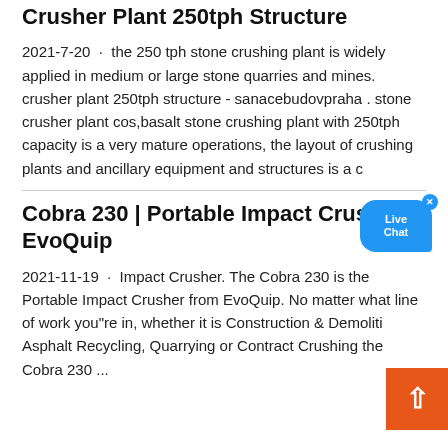Crusher Plant 250tph Structure
2021-7-20 · the 250 tph stone crushing plant is widely applied in medium or large stone quarries and mines. crusher plant 250tph structure - sanacebudovpraha . stone crusher plant cos,basalt stone crushing plant with 250tph capacity is a very mature operations, the layout of crushing plants and ancillary equipment and structures is a c
[Figure (other): Live Chat button overlay in blue speech bubble with close X]
Cobra 230 | Portable Impact Crusher | EvoQuip
2021-11-19 · Impact Crusher. The Cobra 230 is the Portable Impact Crusher from EvoQuip. No matter what line of work you"re in, whether it is Construction & Demolition, Asphalt Recycling, Quarrying or Contract Crushing the Cobra 230 ...
[Figure (other): Orange back-to-top arrow button in bottom right corner]